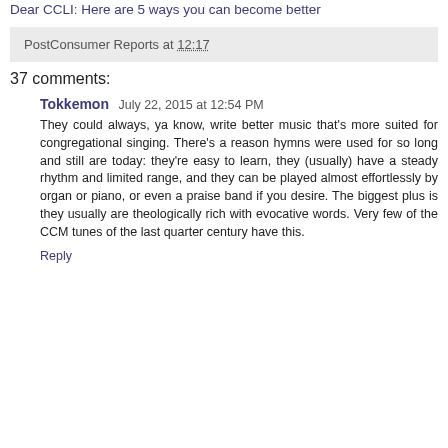Dear CCLI: Here are 5 ways you can become better
PostConsumer Reports at 12:17
37 comments:
Tokkemon  July 22, 2015 at 12:54 PM
They could always, ya know, write better music that's more suited for congregational singing. There's a reason hymns were used for so long and still are today: they're easy to learn, they (usually) have a steady rhythm and limited range, and they can be played almost effortlessly by organ or piano, or even a praise band if you desire. The biggest plus is they usually are theologically rich with evocative words. Very few of the CCM tunes of the last quarter century have this.
Reply